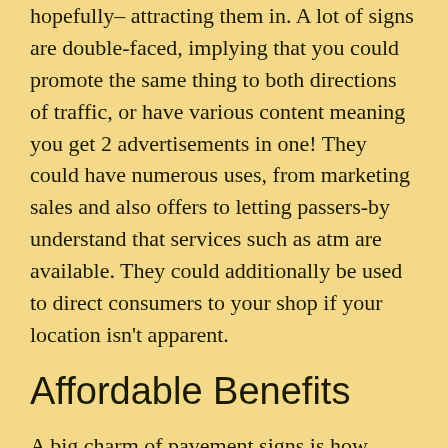hopefully– attracting them in. A lot of signs are double-faced, implying that you could promote the same thing to both directions of traffic, or have various content meaning you get 2 advertisements in one! They could have numerous uses, from marketing sales and also offers to letting passers-by understand that services such as atm are available. They could additionally be used to direct consumers to your shop if your location isn't apparent.
Affordable Benefits
A big charm of pavement signs is how cheap they are. Not just is their first price reduced, but once you acquire them you have them for a lifetime, which is more than can be said about television ads or magazine spreads. This removal of repeat payments is especially great for little shops and also those that could be on a tighter budget plan– you do not have to worry about paying out each